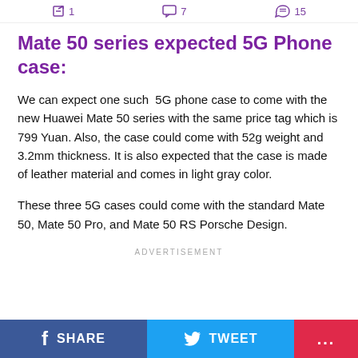1  7  15
Mate 50 series expected 5G Phone case:
We can expect one such  5G phone case to come with the new Huawei Mate 50 series with the same price tag which is 799 Yuan. Also, the case could come with 52g weight and 3.2mm thickness. It is also expected that the case is made of leather material and comes in light gray color.
These three 5G cases could come with the standard Mate 50, Mate 50 Pro, and Mate 50 RS Porsche Design.
ADVERTISEMENT
SHARE  TWEET  ...